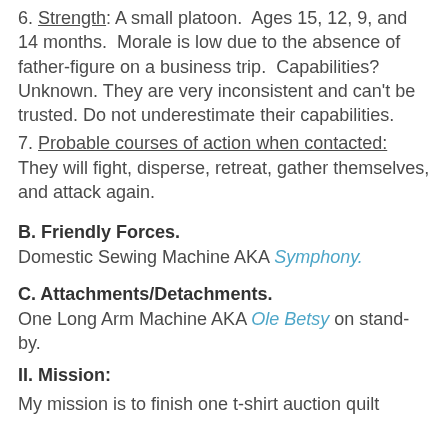6. Strength: A small platoon.  Ages 15, 12, 9, and 14 months.  Morale is low due to the absence of father-figure on a business trip.  Capabilities?  Unknown.  They are very inconsistent and can't be trusted. Do not underestimate their capabilities.
7. Probable courses of action when contacted:  They will fight, disperse, retreat, gather themselves, and attack again.
B. Friendly Forces.
Domestic Sewing Machine AKA Symphony.
C. Attachments/Detachments.
One Long Arm Machine AKA Ole Betsy on stand-by.
II. Mission:
My mission is to finish one t-shirt auction quilt